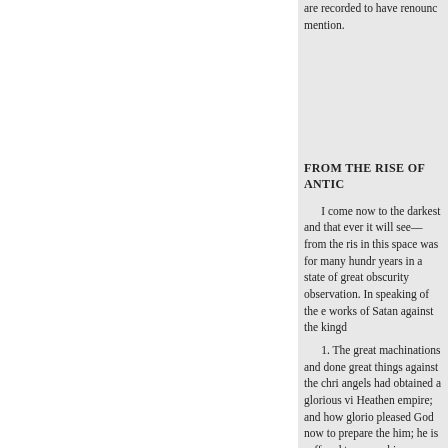are recorded to have renounced... mention.
FROM THE RISE OF ANTIO
I come now to the darkest and that ever it will see—from the ris in this space was for many hundr years in a state of great obscurity observation. In speaking of the e works of Satan against the kingd
1. The great machinations and done great things against the chri angels had obtained a glorious vi Heathen empire; and how glorio pleased God now to prepare the  him; he is suffered to renew his s